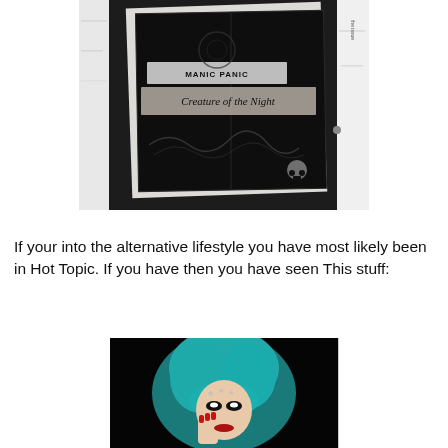[Figure (photo): Photo of a Manic Panic 'Creature of the Night' product box/palette on a marble-like white surface, dark packaging with gothic lettering]
If your into the alternative lifestyle you have most likely been in Hot Topic. If you have then you have seen This stuff:
[Figure (photo): Photo of a person with bright teal/blue hair, heavy eye makeup, red nails, posing with hand near face, against a dark background]